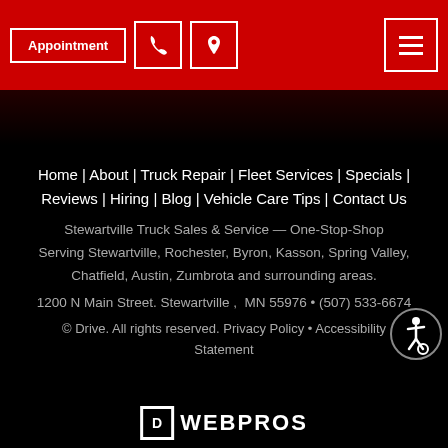Appointment | Phone | Location | Menu
Home | About | Truck Repair | Fleet Services | Specials | Reviews | Hiring | Blog | Vehicle Care Tips | Contact Us
Stewartville Truck Sales & Service — One-Stop-Shop Serving Stewartville, Rochester, Byron, Kasson, Spring Valley, Chatfield, Austin, Zumbrota and surrounding areas.
1200 N Main Street. Stewartville ,  MN 55976 • (507) 533-6674
© Drive. All rights reserved. Privacy Policy • Accessibility Statement
[Figure (logo): WebPros logo with box icon and WEBPROS text]
[Figure (illustration): Accessibility wheelchair icon, circular badge]